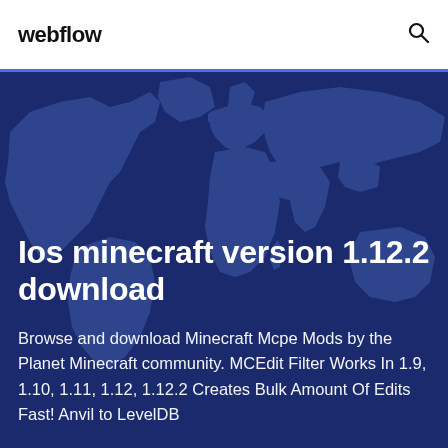webflow
Ios minecraft version 1.12.2 download
Browse and download Minecraft Mcpe Mods by the Planet Minecraft community. MCEdit Filter Works In 1.9, 1.10, 1.11, 1.12, 1.12.2 Creates Bulk Amount Of Edits Fast! Anvil to LevelDB
[Figure (map): World map silhouette in dark blue, used as background for the hero section]